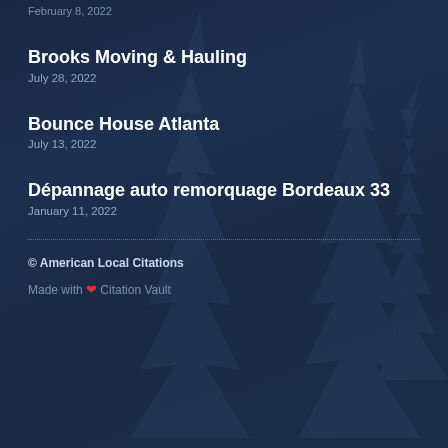February 8, 2022
Brooks Moving & Hauling
July 28, 2022
Bounce House Atlanta
July 13, 2022
Dépannage auto remorquage Bordeaux 33
January 11, 2022
© American Local Citations
Made with ❤ Citation Vault